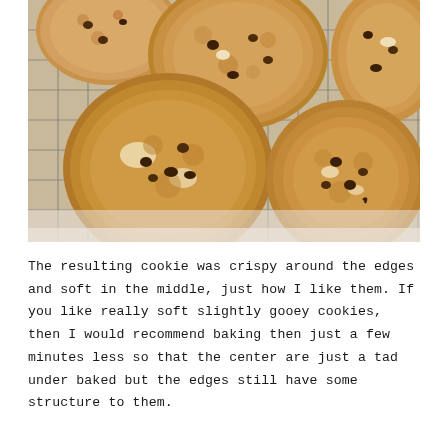[Figure (photo): Overhead photo of several large chocolate chip cookies cooling on a wire baking rack, on a white marble surface. The cookies appear golden-brown with visible chocolate chips and white chocolate chunks, crispy edges and soft centers.]
The resulting cookie was crispy around the edges and soft in the middle, just how I like them. If you like really soft slightly gooey cookies, then I would recommend baking then just a few minutes less so that the center are just a tad under baked but the edges still have some structure to them.